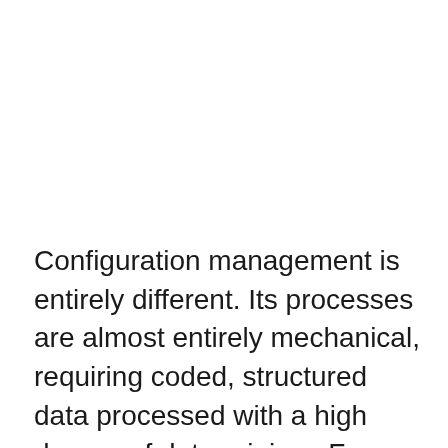Configuration management is entirely different. Its processes are almost entirely mechanical, requiring coded, structured data processed with a high degree of determinism. From an enterprise perspective, the technology requires a relatively low RQ to operate and is transparent to audit. Finally, the human impact is minor. Most of the action is on the back end, the social impact is narrow, and the